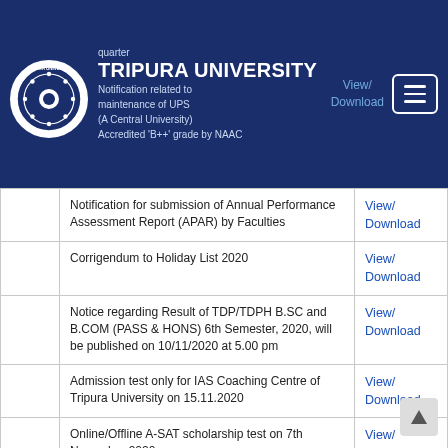TRIPURA UNIVERSITY (A Central University) Accredited 'B++' grade by NAAC
|  | Notification | Link |
| --- | --- | --- |
|  | Notification related to maintenance of UPS | View/Download |
|  | Notification for submission of Annual Performance Assessment Report (APAR) by Faculties | View/Download |
|  | Corrigendum to Holiday List 2020 | View/Download |
|  | Notice regarding Result of TDP/TDPH B.SC and B.COM (PASS & HONS) 6th Semester, 2020, will be published on 10/11/2020 at 5.00 pm | View/Download |
|  | Admission test only for IAS Coaching Centre of Tripura University on 15.11.2020 | View/Download |
|  | Online/Offline A-SAT scholarship test on 7th November 2020 | View/Download |
|  | Allotment of fund for purchases | View/ |